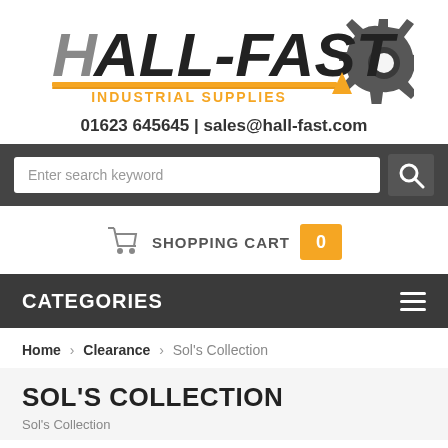[Figure (logo): Hall-Fast Industrial Supplies logo — bold stylized text 'HALL-FAST' with grey and black lettering, orange subtitle 'INDUSTRIAL SUPPLIES', orange and yellow horizontal stripe, gear/cog silhouette on the right]
01623 645645 | sales@hall-fast.com
[Figure (screenshot): Dark grey search bar with white input box placeholder 'Enter search keyword' and a search icon button on the right]
[Figure (infographic): Shopping cart icon with label 'SHOPPING CART' and orange badge showing '0']
CATEGORIES
Home > Clearance > Sol's Collection
SOL'S COLLECTION
Sol's Collection